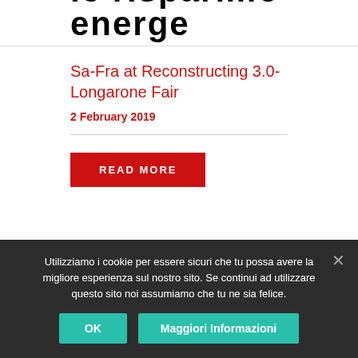le risparmio energe…
Sa-Fra at Reconstructing 3.0- Longarone Fair
2 February 2019
[Figure (photo): Exterior view of a modern industrial or commercial building with dark corrugated metal cladding and rectangular windows]
Utilizziamo i cookie per essere sicuri che tu possa avere la migliore esperienza sul nostro sito. Se continui ad utilizzare questo sito noi assumiamo che tu ne sia felice.